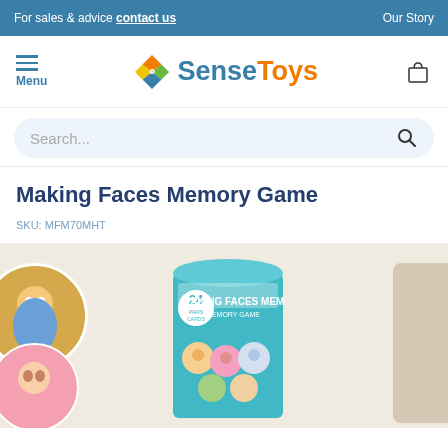For sales & advice contact us    Our Story
[Figure (logo): SenseToys logo with colorful diamond icon and menu/cart icons]
Search...
Making Faces Memory Game
SKU: MFM70MHT
[Figure (photo): Product photo of Making Faces Memory Game showing game cards with illustrated faces and a teal cylindrical container labeled MAKING FACES MEMORY with 24 pieces]